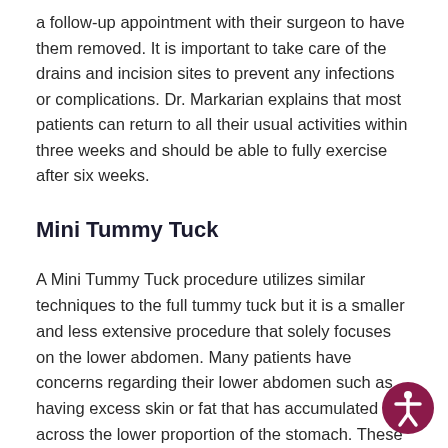a follow-up appointment with their surgeon to have them removed. It is important to take care of the drains and incision sites to prevent any infections or complications. Dr. Markarian explains that most patients can return to all their usual activities within three weeks and should be able to fully exercise after six weeks.
Mini Tummy Tuck
A Mini Tummy Tuck procedure utilizes similar techniques to the full tummy tuck but it is a smaller and less extensive procedure that solely focuses on the lower abdomen. Many patients have concerns regarding their lower abdomen such as having excess skin or fat that has accumulated across the lower proportion of the stomach. These patients will be most suitable for a mini tummy tuck as it is specifically designed to treat this area of concern.